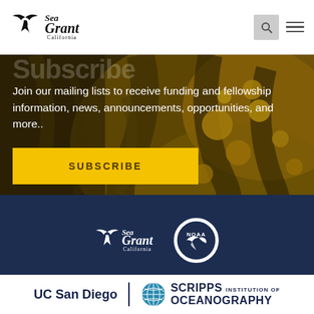[Figure (logo): Sea Grant California logo with bird silhouette]
[Figure (screenshot): Search icon and hamburger menu icon in header]
[Figure (photo): Close-up underwater photo of kelp with golden/amber color tones forming hero background]
Join our mailing lists to receive funding and fellowship information, news, announcements, opportunities, and more..
SUBSCRIBE
[Figure (logo): Sea Grant California white logo in footer]
[Figure (logo): NOAA circular logo in footer]
[Figure (logo): UC San Diego | Scripps Institution of Oceanography logo in footer]